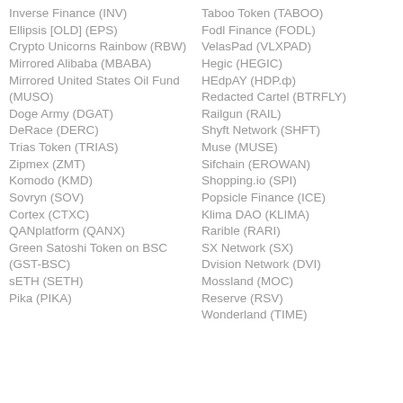Inverse Finance (INV)
Ellipsis [OLD] (EPS)
Crypto Unicorns Rainbow (RBW)
Mirrored Alibaba (MBABA)
Mirrored United States Oil Fund (MUSO)
Doge Army (DGAT)
DeRace (DERC)
Trias Token (TRIAS)
Zipmex (ZMT)
Komodo (KMD)
Sovryn (SOV)
Cortex (CTXC)
QANplatform (QANX)
Green Satoshi Token on BSC (GST-BSC)
sETH (SETH)
Pika (PIKA)
Taboo Token (TABOO)
Fodl Finance (FODL)
VelasPad (VLXPAD)
Hegic (HEGIC)
HEdpAY (HDP.ф)
Redacted Cartel (BTRFLY)
Railgun (RAIL)
Shyft Network (SHFT)
Muse (MUSE)
Sifchain (EROWAN)
Shopping.io (SPI)
Popsicle Finance (ICE)
Klima DAO (KLIMA)
Rarible (RARI)
SX Network (SX)
Dvision Network (DVI)
Mossland (MOC)
Reserve (RSV)
Wonderland (TIME)